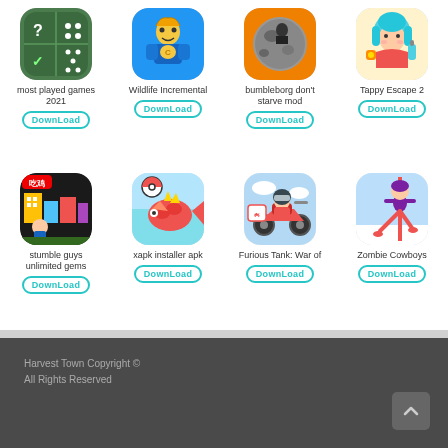[Figure (screenshot): App grid showing 8 mobile app icons with names and Download buttons]
most played games 2021
DownLoad
Wildlife Incremental
DownLoad
bumbleborg don't starve mod
DownLoad
Tappy Escape 2
DownLoad
stumble guys unlimited gems
DownLoad
xapk installer apk
DownLoad
Furious Tank: War of
DownLoad
Zombie Cowboys
DownLoad
Harvest Town Copyright ©
All Rights Reserved